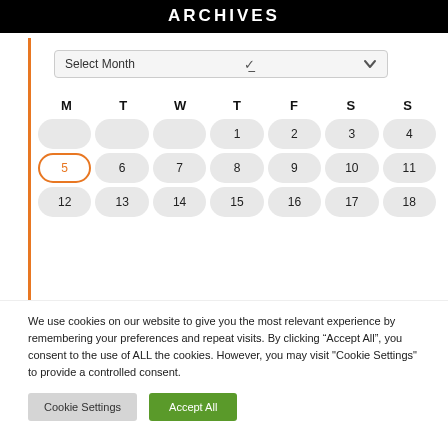ARCHIVES
[Figure (screenshot): A dropdown selector labeled 'Select Month' with a chevron arrow on the right.]
| M | T | W | T | F | S | S |
| --- | --- | --- | --- | --- | --- | --- |
|  |  |  | 1 | 2 | 3 | 4 |
| 5 | 6 | 7 | 8 | 9 | 10 | 11 |
| 12 | 13 | 14 | 15 | 16 | 17 | 18 |
We use cookies on our website to give you the most relevant experience by remembering your preferences and repeat visits. By clicking “Accept All”, you consent to the use of ALL the cookies. However, you may visit "Cookie Settings" to provide a controlled consent.
Cookie Settings   Accept All